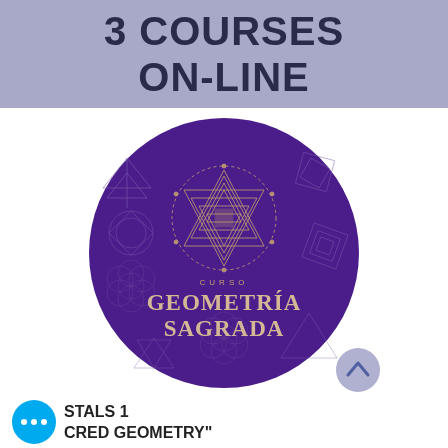3 COURSES ON-LINE
[Figure (illustration): Purple circular logo for 'Curso Geometría Sagrada' featuring sacred geometry symbols including Sri Yantra, Flower of Life, tetrahedra, and other geometric patterns on a deep purple background with gold text.]
[Figure (illustration): Light purple circular scroll-up button with an upward chevron arrow.]
[Figure (illustration): Cyan/blue circular button with three dots (ellipsis menu icon).]
STALS 1
CRED GEOMETRY"